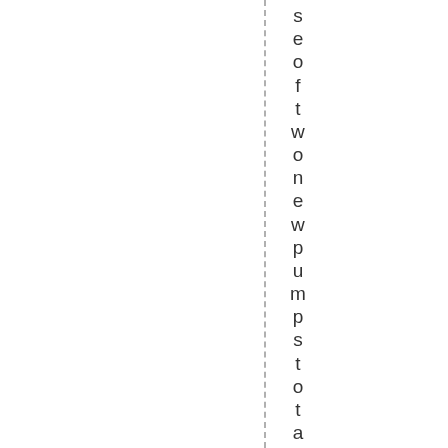s e o f t w o n e w p u m p s t o t a l i n g $ 6 4 , 8 2 5